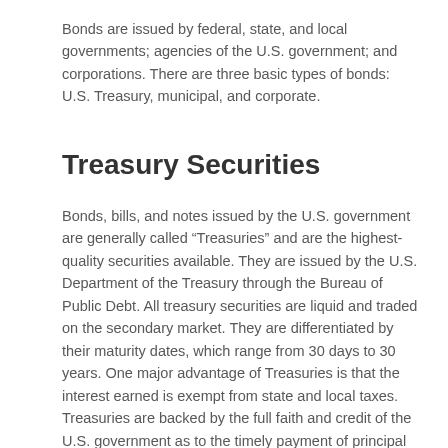Bonds are issued by federal, state, and local governments; agencies of the U.S. government; and corporations. There are three basic types of bonds: U.S. Treasury, municipal, and corporate.
Treasury Securities
Bonds, bills, and notes issued by the U.S. government are generally called “Treasuries” and are the highest-quality securities available. They are issued by the U.S. Department of the Treasury through the Bureau of Public Debt. All treasury securities are liquid and traded on the secondary market. They are differentiated by their maturity dates, which range from 30 days to 30 years. One major advantage of Treasuries is that the interest earned is exempt from state and local taxes. Treasuries are backed by the full faith and credit of the U.S. government as to the timely payment of principal and interest, so there is little risk of default.